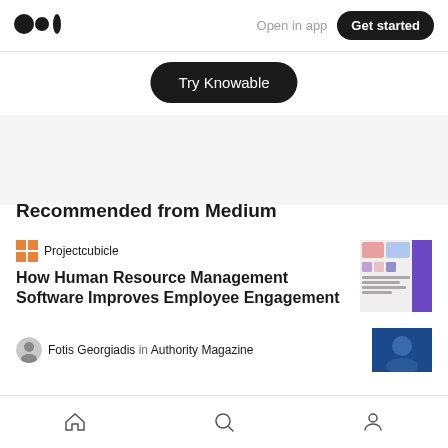Medium logo | Open in app | Get started
Try Knowable
Recommended from Medium
Projectcubicle
How Human Resource Management Software Improves Employee Engagement
[Figure (screenshot): Thumbnail for HR Management Software article showing purple and pink UI screenshot]
Fotis Georgiadis in Authority Magazine
[Figure (photo): Small photo thumbnail for Authority Magazine article]
Home | Search | Profile